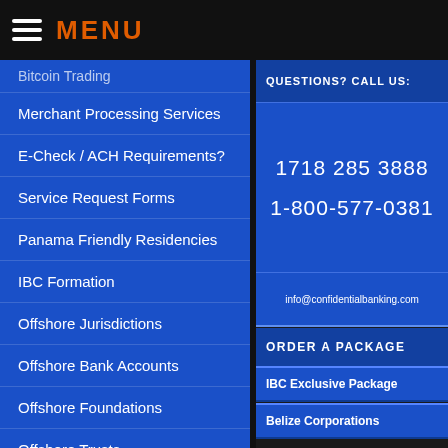MENU
Bitcoin Trading (partial)
Merchant Processing Services
E-Check / ACH Requirements?
Service Request Forms
Panama Friendly Residencies
IBC Formation
Offshore Jurisdictions
Offshore Bank Accounts
Offshore Foundations
Offshore Trusts
Offshore Financial Planning
QUESTIONS? CALL US:
1718 285 3888
1-800-577-0381
info@confidentialbanking.com
ORDER A PACKAGE
IBC Exclusive Package
Belize Corporations
BVI Corporations
Costa Rica Corporations
Shelf Corporations